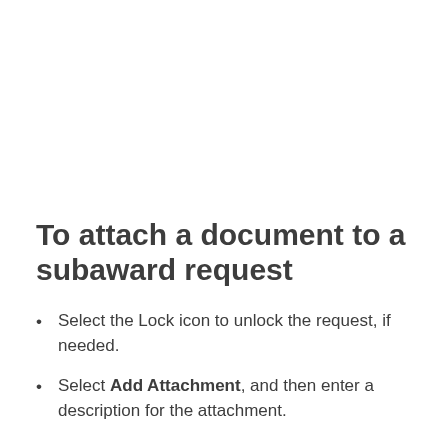To attach a document to a subaward request
Select the Lock icon to unlock the request, if needed.
Select Add Attachment, and then enter a description for the attachment.